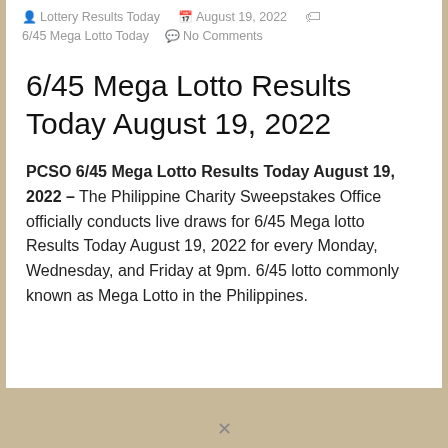Lottery Results Today   August 19, 2022   6/45 Mega Lotto Today   No Comments
6/45 Mega Lotto Results Today August 19, 2022
PCSO 6/45 Mega Lotto Results Today August 19, 2022 – The Philippine Charity Sweepstakes Office officially conducts live draws for 6/45 Mega lotto Results Today August 19, 2022 for every Monday, Wednesday, and Friday at 9pm. 6/45 lotto commonly known as Mega Lotto in the Philippines.